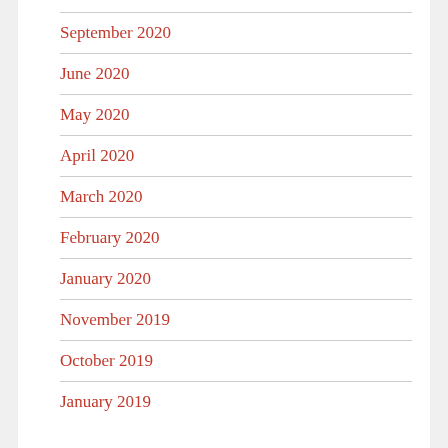September 2020
June 2020
May 2020
April 2020
March 2020
February 2020
January 2020
November 2019
October 2019
January 2019